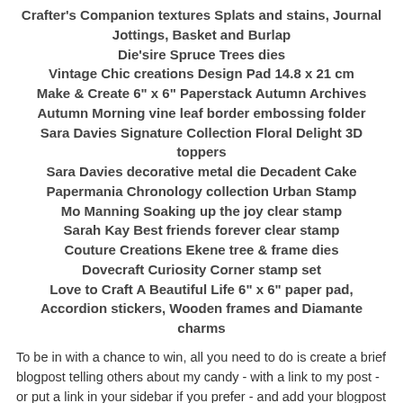Crafter's Companion textures Splats and stains, Journal Jottings, Basket and Burlap
Die'sire Spruce Trees dies
Vintage Chic creations Design Pad 14.8 x 21 cm
Make & Create 6" x 6" Paperstack Autumn Archives
Autumn Morning vine leaf border embossing folder
Sara Davies Signature Collection Floral Delight 3D toppers
Sara Davies decorative metal die Decadent Cake
Papermania Chronology collection Urban Stamp
Mo Manning Soaking up the joy clear stamp
Sarah Kay Best friends forever clear stamp
Couture Creations Ekene tree & frame dies
Dovecraft Curiosity Corner stamp set
Love to Craft A Beautiful Life 6" x 6" paper pad, Accordion stickers, Wooden frames and Diamante charms
To be in with a chance to win, all you need to do is create a brief blogpost telling others about my candy - with a link to my post - or put a link in your sidebar if you prefer - and add your blogpost link to linky at the